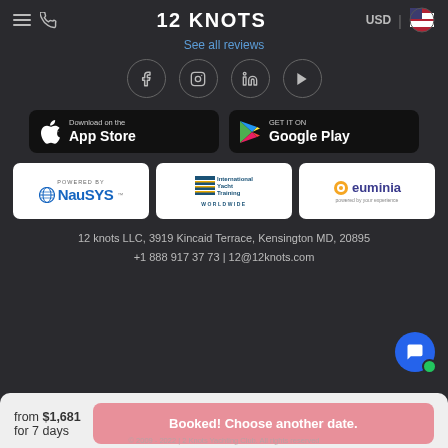12 KNOTS  USD
See all reviews
[Figure (screenshot): Social media icons row: Facebook, Instagram, LinkedIn, YouTube — each in a circle outline]
[Figure (screenshot): App store download buttons: 'Download on the App Store' and 'GET IT ON Google Play']
[Figure (logo): Three partner logos: NauSYS (Powered by), International Yacht Training Worldwide, euminia]
12 knots LLC, 3919 Kincaid Terrace, Kensington MD, 20895
+1 888 917 37 73 | 12@12knots.com
from $1,681
for 7 days
Booked! Choose another date.
© 2009 - 2022 | 2 Knots Yachting Club. All rights reserved